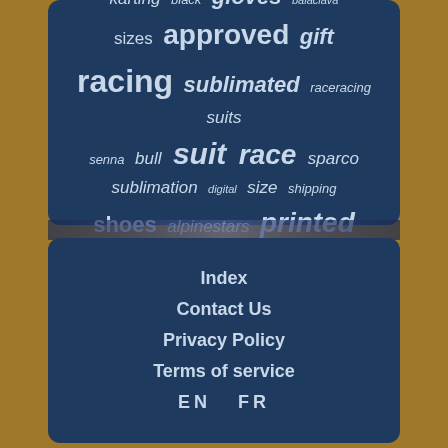[Figure (infographic): Tag cloud on dark blue rounded panel background showing racing/motorsport related keywords in varying sizes: karting, black, gloves, balaclava, sizes, approved, gift, racing, sublimated, raceracing, suits, senna, bull, suit, race, sparco, sublimation, digital, size, shipping, shoes, alpinestars, printed]
Index
Contact Us
Privacy Policy
Terms of service
EN   FR